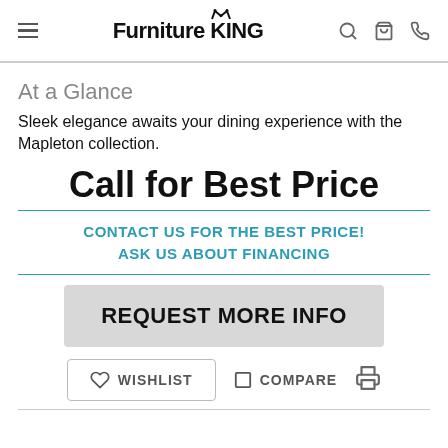Furniture King
At a Glance
Sleek elegance awaits your dining experience with the Mapleton collection.
Call for Best Price
CONTACT US FOR THE BEST PRICE!
ASK US ABOUT FINANCING
REQUEST MORE INFO
WISHLIST   COMPARE